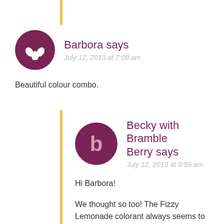Barbora says
July 12, 2013 at 7:08 am
Beautiful colour combo.
Becky with Bramble Berry says
July 12, 2013 at 9:59 am
Hi Barbora!
We thought so too! The Fizzy Lemonade colorant always seems to make any soap